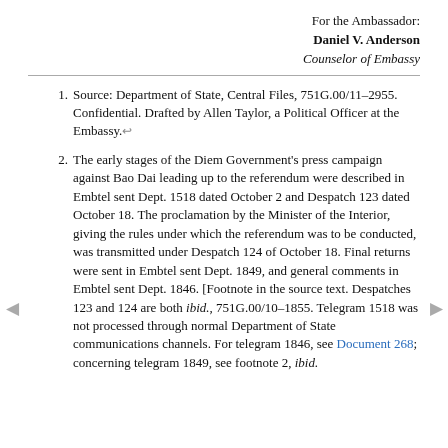For the Ambassador:
Daniel V. Anderson
Counselor of Embassy
Source: Department of State, Central Files, 751G.00/11–2955. Confidential. Drafted by Allen Taylor, a Political Officer at the Embassy.←
The early stages of the Diem Government's press campaign against Bao Dai leading up to the referendum were described in Embtel sent Dept. 1518 dated October 2 and Despatch 123 dated October 18. The proclamation by the Minister of the Interior, giving the rules under which the referendum was to be conducted, was transmitted under Despatch 124 of October 18. Final returns were sent in Embtel sent Dept. 1849, and general comments in Embtel sent Dept. 1846. [Footnote in the source text. Despatches 123 and 124 are both ibid., 751G.00/10–1855. Telegram 1518 was not processed through normal Department of State communications channels. For telegram 1846, see Document 268; concerning telegram 1849, see footnote 2, ibid.